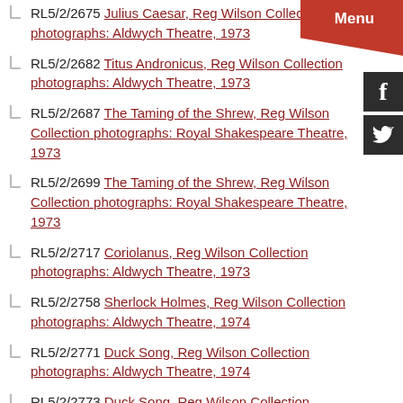RL5/2/2675 Julius Caesar, Reg Wilson Collection photographs: Aldwych Theatre, 1973
RL5/2/2682 Titus Andronicus, Reg Wilson Collection photographs: Aldwych Theatre, 1973
RL5/2/2687 The Taming of the Shrew, Reg Wilson Collection photographs: Royal Shakespeare Theatre, 1973
RL5/2/2699 The Taming of the Shrew, Reg Wilson Collection photographs: Royal Shakespeare Theatre, 1973
RL5/2/2717 Coriolanus, Reg Wilson Collection photographs: Aldwych Theatre, 1973
RL5/2/2758 Sherlock Holmes, Reg Wilson Collection photographs: Aldwych Theatre, 1974
RL5/2/2771 Duck Song, Reg Wilson Collection photographs: Aldwych Theatre, 1974
RL5/2/2773 Duck Song, Reg Wilson Collection photographs: Aldwych Theatre, 1974
RL5/2/2778 Sherlock Holmes, Reg Wilson